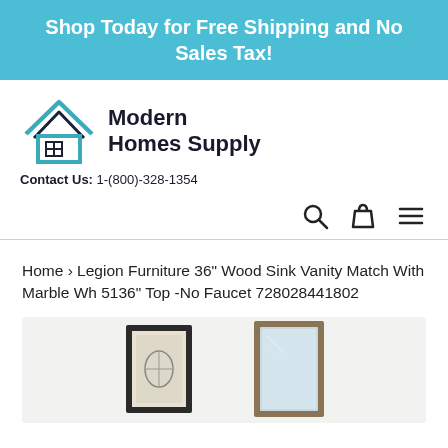Shop Today for Free Shipping and No Sales Tax!
[Figure (logo): Modern Homes Supply house logo with teal outline and grid window]
Contact Us: 1-(800)-328-1354
[Figure (infographic): Navigation icons: search magnifier, shopping bag, and hamburger menu]
Home › Legion Furniture 36" Wood Sink Vanity Match With Marble Wh 5136" Top -No Faucet 728028441802
[Figure (photo): Product photo showing two framed mirrors: one dark-framed with bird art print, one wood-framed mirror on light background]